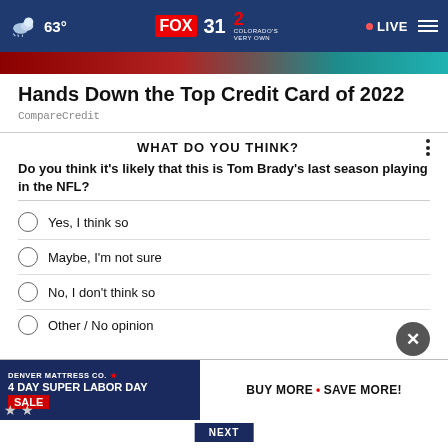63° FOX 31 2 COLORADO'S VERY OWN • LIVE
[Figure (screenshot): Partial image strip at top of page in red and teal colors]
Hands Down the Top Credit Card of 2022
CompareCredit
WHAT DO YOU THINK?
Do you think it's likely that this is Tom Brady's last season playing in the NFL?
Yes, I think so
Maybe, I'm not sure
No, I don't think so
Other / No opinion
[Figure (screenshot): Denver Mattress Co. 4 Day Super Labor Day Sale advertisement banner with BUY MORE • SAVE MORE!]
NEXT